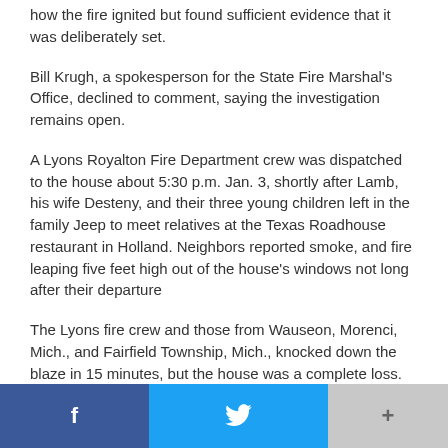how the fire ignited but found sufficient evidence that it was deliberately set.
Bill Krugh, a spokesperson for the State Fire Marshal's Office, declined to comment, saying the investigation remains open.
A Lyons Royalton Fire Department crew was dispatched to the house about 5:30 p.m. Jan. 3, shortly after Lamb, his wife Desteny, and their three young children left in the family Jeep to meet relatives at the Texas Roadhouse restaurant in Holland. Neighbors reported smoke, and fire leaping five feet high out of the house's windows not long after their departure
The Lyons fire crew and those from Wauseon, Morenci, Mich., and Fairfield Township, Mich., knocked down the blaze in 15 minutes, but the house was a complete loss. Damage was estimated at $100,000.
The grand theft and telecommunications fraud charges Lamb faces stem from his acceptance of multiple donations of
f  [twitter]  +